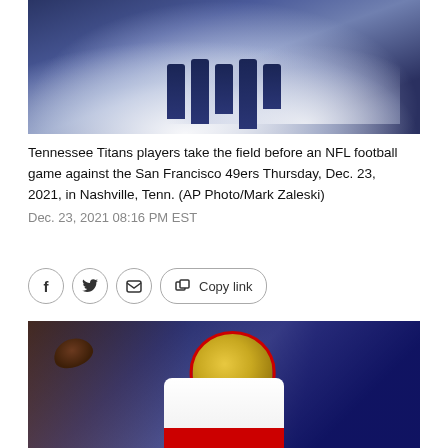[Figure (photo): Tennessee Titans players running onto the field through smoke before an NFL game, players wearing dark blue uniforms]
Tennessee Titans players take the field before an NFL football game against the San Francisco 49ers Thursday, Dec. 23, 2021, in Nashville, Tenn. (AP Photo/Mark Zaleski)
Dec. 23, 2021 08:16 PM EST
[Figure (other): Share buttons row: Facebook, Twitter, Email, and Copy link]
[Figure (photo): San Francisco 49ers quarterback preparing to throw a pass, wearing white and red uniform with gold helmet]